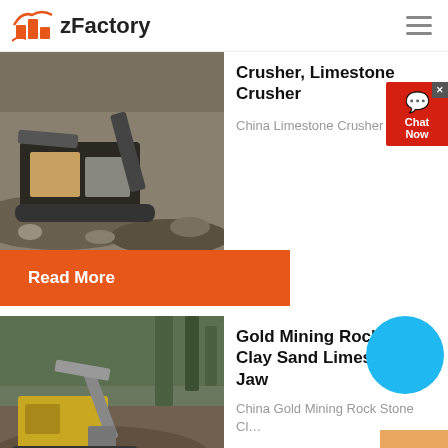zFactory
[Figure (photo): Industrial crusher/mining machine on rocky ground in an open-pit quarry]
Crusher, Limestone Crusher
China Limestone Crusher ma...
Read More
[Figure (photo): Excavator and jaw crusher machine operating at a mining/quarry site with rocks]
Gold Mining Rock Stone Clay Sand Limestone Jaw
China Gold Mining Rock Stone Cl...